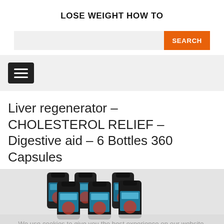LOSE WEIGHT HOW TO
[Figure (screenshot): Search bar with orange SEARCH button]
[Figure (screenshot): Navigation hamburger menu button on grey background]
Liver regenerator – CHOLESTEROL RELIEF – Digestive aid – 6 Bottles 360 Capsules
[Figure (photo): Product photo showing 6 supplement bottles (cholesterol relief capsules) on a grey background with cookie notice overlay]
We use cookies to give you the best experience on our website.